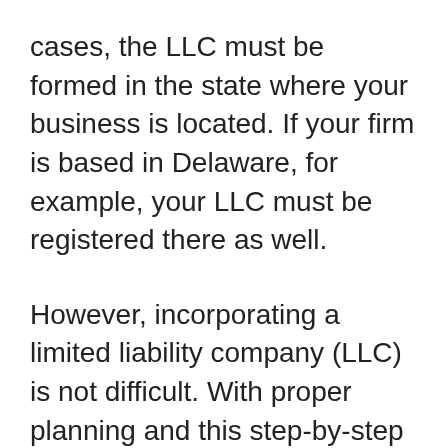cases, the LLC must be formed in the state where your business is located. If your firm is based in Delaware, for example, your LLC must be registered there as well.
However, incorporating a limited liability company (LLC) is not difficult. With proper planning and this step-by-step guide, you can set up your Delaware LLC in no time. We'll walk you through the whole process of how to get your LLC in Delaware.
Before we start, here are the top picks for the Best LLC Services available in